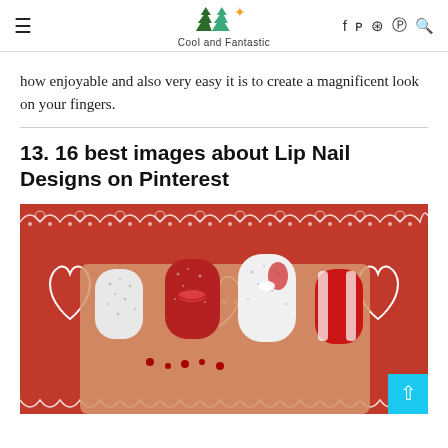Cool and Fantastic
how enjoyable and also very easy it is to create a magnificent look on your fingers.
13. 16 best images about Lip Nail Designs on Pinterest
[Figure (photo): Close-up photo of nail art designs featuring glitter, red and white patterns, lip prints, and lace decorations with hearts and 'LOVE' text on a decorative red background.]